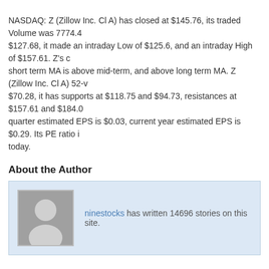NASDAQ: Z (Zillow Inc. Cl A) has closed at $145.76, its traded Volume was 7774.4, $127.68, it made an intraday Low of $125.6, and an intraday High of $157.61. Z's c short term MA is above mid-term, and above long term MA. Z (Zillow Inc. Cl A) 52-v $70.28, it has supports at $118.75 and $94.73, resistances at $157.61 and $184.0 quarter estimated EPS is $0.03, current year estimated EPS is $0.29. Its PE ratio i today.
About the Author
ninestocks has written 14696 stories on this site.
« MACD(12,26,9) Bull Crossover Stocks (July 24)
News Categories    Site P
Home page   Stock Analysis and Picks   Investment Education   News
Copyright © 2012 Nine Stocks